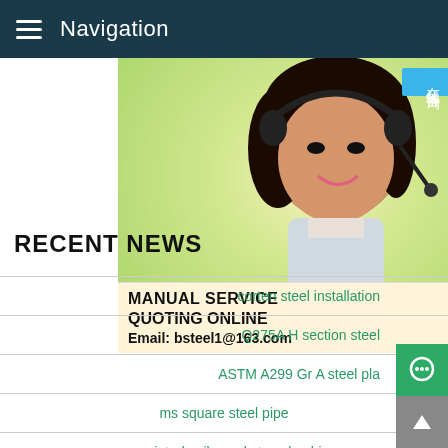Navigation
[Figure (photo): Customer service representative woman wearing headset, with Chinese text badge '在线咨询' (Online Consultation), and overlay service box with text: MANUAL SERVICE, QUOTING ONLINE, Email: bsteel1@163.com]
RECENT NEWS
corten steel installation
Q275A H section steel
ASTM A299 Gr A steel pla...
ms square steel pipe
prepainted coil supply to colombia
Hot rolled steel stainless steel 304 no plate